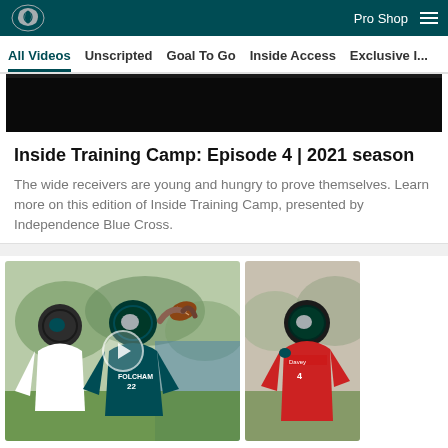Pro Shop
All Videos  Unscripted  Goal To Go  Inside Access  Exclusive I...
[Figure (screenshot): Black video banner area for Inside Training Camp episode]
Inside Training Camp: Episode 4 | 2021 season
The wide receivers are young and hungry to prove themselves. Learn more on this edition of Inside Training Camp, presented by Independence Blue Cross.
[Figure (photo): Eagles training camp football action photo showing player FOLCHAM wearing green jersey catching ball while being defended]
[Figure (photo): Eagles player in red jersey at training camp, partial view]